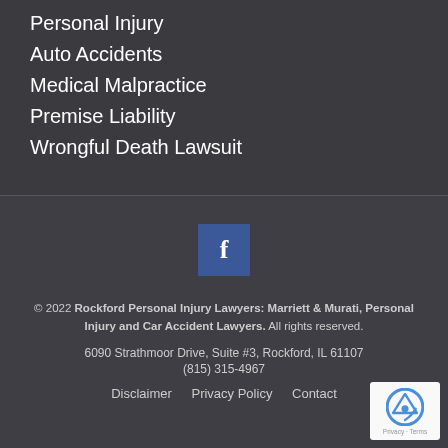Personal Injury
Auto Accidents
Medical Malpractice
Premise Liability
Wrongful Death Lawsuit
[Figure (logo): Facebook social media icon - blue square with white 'f' letter]
© 2022 Rockford Personal Injury Lawyers: Marriett & Murati, Personal Injury and Car Accident Lawyers. All rights reserved.
6090 Strathmoor Drive, Suite #3, Rockford, IL 61107
(815) 315-4967
Disclaimer  Privacy Policy  Contact